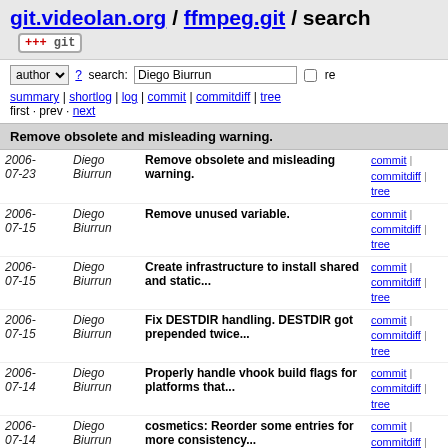git.videolan.org / ffmpeg.git / search
author ? search: Diego Biurrun re
summary | shortlog | log | commit | commitdiff | tree
first · prev · next
Remove obsolete and misleading warning.
| Date | Author | Message | Links |
| --- | --- | --- | --- |
| 2006-07-23 | Diego Biurrun | Remove obsolete and misleading warning. | commit | commitdiff | tree |
| 2006-07-15 | Diego Biurrun | Remove unused variable. | commit | commitdiff | tree |
| 2006-07-15 | Diego Biurrun | Create infrastructure to install shared and static... | commit | commitdiff | tree |
| 2006-07-15 | Diego Biurrun | Fix DESTDIR handling. DESTDIR got prepended twice... | commit | commitdiff | tree |
| 2006-07-14 | Diego Biurrun | Properly handle vhook build flags for platforms that... | commit | commitdiff | tree |
| 2006-07-14 | Diego Biurrun | cosmetics: Reorder some entries for more consistency... | commit | commitdiff | tree |
| 2006-07-14 | Diego Biurrun | 10l: the ${prefix} variable should not be expanded... | commit | commitdiff | tree |
| 2006-07-13 | Diego Biurrun | Simplify the setting of some defaults. | commit | commitdiff | tree |
| 2006-07-13 | Diego Biurrun | Remove MPlayer-specific include | commit | commitdiff |